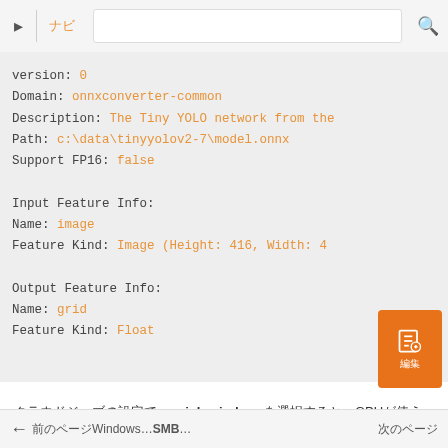ナビゲーション | 検索ボックス
version: 0
Domain: onnxconverter-common
Description: The Tiny YOLO network from the
Path: c:\data\tinyyolov2-7\model.onnx
Support FP16: false

Input Feature Info:
Name: image
Feature Kind: Image (Height: 416, Width: 4...

Output Feature Info:
Name: grid
Feature Kind: Float
クラウドジョブの設定でgpu-job-windowsを選択すると、GPUが使えます。
← 前のページ Windows... SMB... | 次のページ →